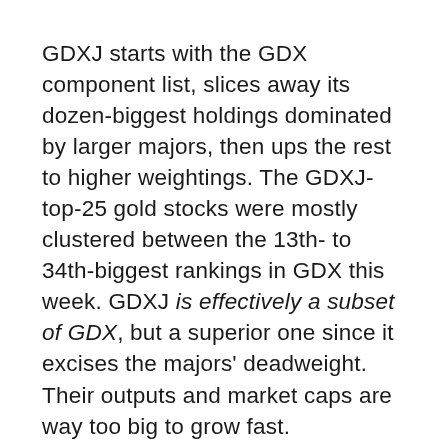GDXJ starts with the GDX component list, slices away its dozen-biggest holdings dominated by larger majors, then ups the rest to higher weightings. The GDXJ-top-25 gold stocks were mostly clustered between the 13th- to 34th-biggest rankings in GDX this week. GDXJ is effectively a subset of GDX, but a superior one since it excises the majors' deadweight. Their outputs and market caps are way too big to grow fast.
The dozen biggest GDX holdings not included in GDXJ averaged massive 514k-ounce Q1'22 production and $22.7b market capitalizations last week! Meanwhile the